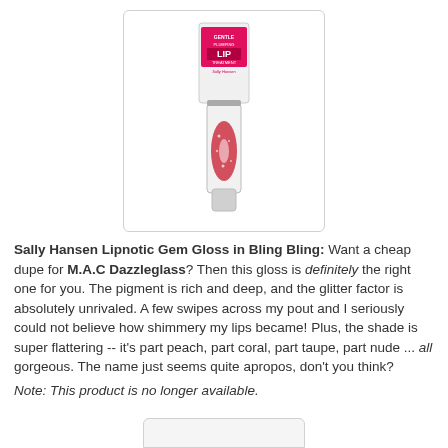[Figure (photo): Sally Hansen Lipnotic Gem Gloss lip gloss product in packaging — a clear tube with a pink label reading 'GENTLE LIP TREATMENT' and a decorative red/coral glitter applicator wand, shown in a white rounded-corner box.]
Sally Hansen Lipnotic Gem Gloss in Bling Bling: Want a cheap dupe for M.A.C Dazzleglass? Then this gloss is definitely the right one for you. The pigment is rich and deep, and the glitter factor is absolutely unrivaled. A few swipes across my pout and I seriously could not believe how shimmery my lips became! Plus, the shade is super flattering -- it's part peach, part coral, part taupe, part nude ... all gorgeous. The name just seems quite apropos, don't you think?
Note: This product is no longer available.